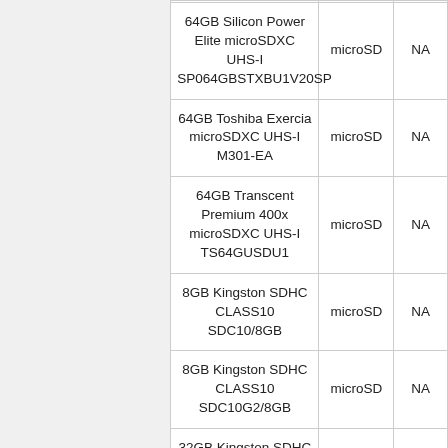| Product | Type |  |
| --- | --- | --- |
| 64GB Silicon Power Elite microSDXC UHS-I SP064GBSTXBU1V20SP | microSD | NA |
| 64GB Toshiba Exercia microSDXC UHS-I M301-EA | microSD | NA |
| 64GB Transcent Premium 400x microSDXC UHS-I TS64GUSDU1 | microSD | NA |
| 8GB Kingston SDHC CLASS10 SDC10/8GB | microSD | NA |
| 8GB Kingston SDHC CLASS10 SDC10G2/8GB | microSD | NA |
| 32GB Kingston SDHC CLASS10 SDC10G2/32GBSP | microSD | NA |
| 64GB Kingston SDXC UHS-I SDCAC/64GB | microSD | NA |
|  |  |  |